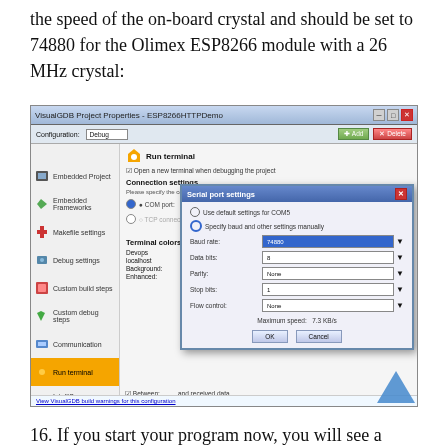the speed of the on-board crystal and should be set to 74880 for the Olimex ESP8266 module with a 26 MHz crystal:
[Figure (screenshot): VisualGDB Project Properties dialog showing serial port settings with a baud rate of 74880 configured for the ESP8266 module. A 'Serial port settings' dialog is open on top showing Baud rate: 74880, Data bits: 8, Parity: None, Stop bits: 1, Flow control: None, Maximum speed: 7.3 KB/s, with OK and Cancel buttons.]
16. If you start your program now, you will see a